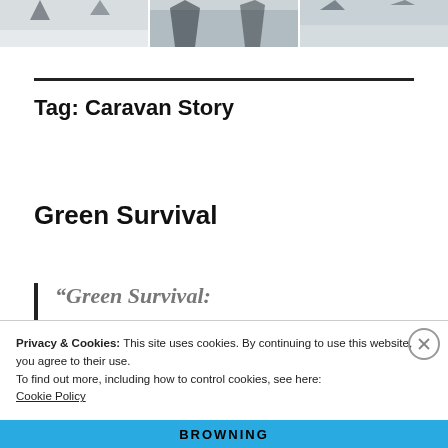[Figure (photo): Top strip showing snowy winter landscape photos in black and white]
Tag: Caravan Story
Green Survival
“Green Survival:
Privacy & Cookies: This site uses cookies. By continuing to use this website, you agree to their use.
To find out more, including how to control cookies, see here:
Cookie Policy
Close and accept
[Figure (screenshot): Bottom blue banner with BROWNING text and logo]